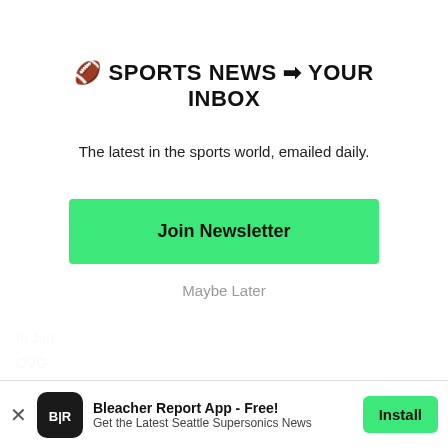🏈 SPORTS NEWS ➡ YOUR INBOX
The latest in the sports world, emailed daily.
Join Newsletter
Maybe Later
In Jun
OVG,
Bonde
[Figure (logo): Bleacher Report app icon — black rounded square with white B|R logo]
Bleacher Report App - Free!
Get the Latest Seattle Supersonics News
Install